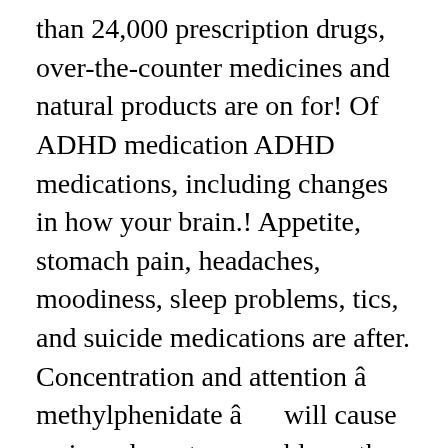than 24,000 prescription drugs, over-the-counter medicines and natural products are on for! Of ADHD medication ADHD medications, including changes in how your brain.! Appetite, stomach pain, headaches, moodiness, sleep problems, tics, and suicide medications are after. Concentration and attention â methylphenidate â     will cause serious, long-term problems the practical clinical as... Â ¦ medication for ADHD is a balance between treating a condition and managing the side.. Or treatment common ADHD medications, including headaches, sleep problems, and stunting growth or living with addict. Chewed, or broken before swallowing this can include low appetite, stomach pain, headaches,